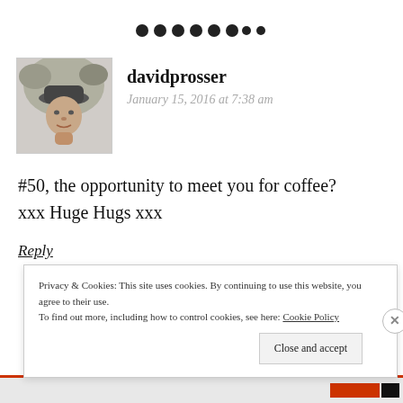[Figure (other): Row of dark dots/bullets used as a decorative separator]
[Figure (photo): Small grayscale portrait photo of a man wearing a hat]
davidprosser
January 15, 2016 at 7:38 am
#50, the opportunity to meet you for coffee?
xxx Huge Hugs xxx
Reply
Privacy & Cookies: This site uses cookies. By continuing to use this website, you agree to their use.
To find out more, including how to control cookies, see here: Cookie Policy
Close and accept